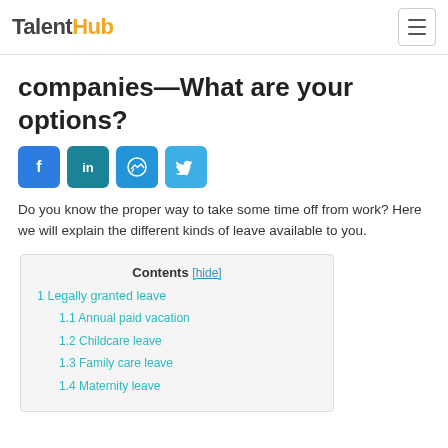TalenHub
companies—What are your options?
[Figure (infographic): Four social sharing icon buttons: Facebook (f), LinkedIn (in), Messenger, Twitter]
Do you know the proper way to take some time off from work? Here we will explain the different kinds of leave available to you.
| Contents [hide] |
| --- |
| 1 Legally granted leave |
| 1.1 Annual paid vacation |
| 1.2 Childcare leave |
| 1.3 Family care leave |
| 1.4 Maternity leave |